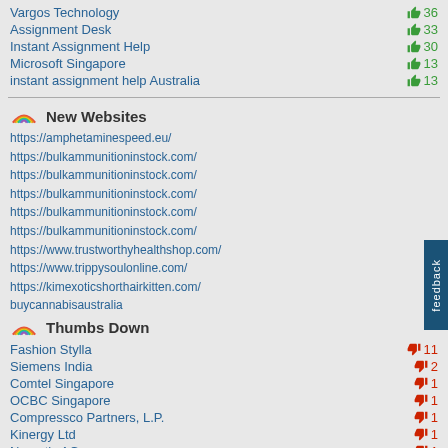Vargos Technology  👍 36
Assignment Desk  👍 33
Instant Assignment Help  👍 30
Microsoft Singapore  👍 13
instant assignment help Australia  👍 13
New Websites
https://amphetaminespeed.eu/
https://bulkammunitioninstock.com/
https://bulkammunitioninstock.com/
https://bulkammunitioninstock.com/
https://bulkammunitioninstock.com/
https://bulkammunitioninstock.com/
https://www.trustworthyhealthshop.com/
https://www.trippysoulonline.com/
https://kimexoticshorthairkitten.com/
buycannabisaustralia
Thumbs Down
Fashion Stylla  👎 11
Siemens India  👎 2
Comtel Singapore  👎 1
OCBC Singapore  👎 1
Compressco Partners, L.P.  👎 1
Kinergy Ltd  👎 1
Novartis AG  👎 1
UOB Singapore  👎 1
TranS1 Inc.  👎 1
Microsoft Singapore  👎 1